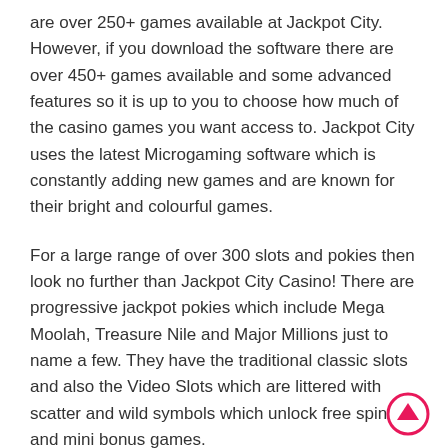are over 250+ games available at Jackpot City. However, if you download the software there are over 450+ games available and some advanced features so it is up to you to choose how much of the casino games you want access to. Jackpot City uses the latest Microgaming software which is constantly adding new games and are known for their bright and colourful games.
For a large range of over 300 slots and pokies then look no further than Jackpot City Casino! There are progressive jackpot pokies which include Mega Moolah, Treasure Nile and Major Millions just to name a few. They have the traditional classic slots and also the Video Slots which are littered with scatter and wild symbols which unlock free spins and mini bonus games.
[Figure (other): Pink/red circular scroll-to-top arrow button in bottom-right corner]